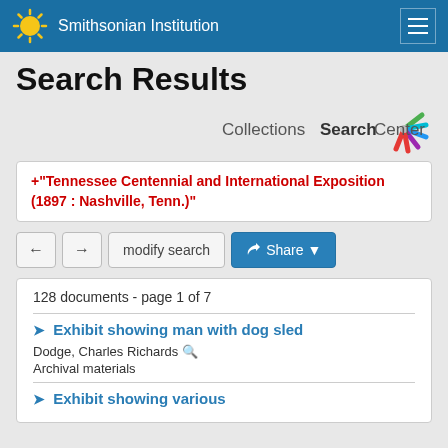Smithsonian Institution
Search Results
[Figure (logo): Collections Search Center logo with colorful starburst icon]
+"Tennessee Centennial and International Exposition (1897 : Nashville, Tenn.)"
← → modify search Share
128 documents - page 1 of 7
Exhibit showing man with dog sled
Dodge, Charles Richards
Archival materials
Exhibit showing various